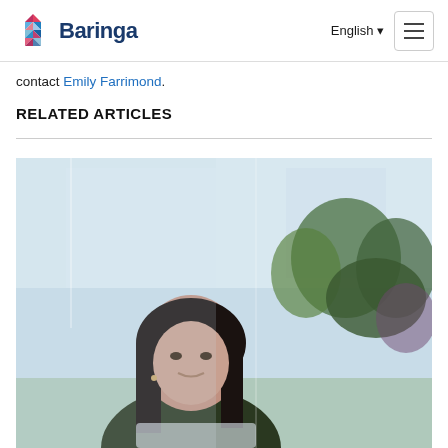Baringa | English | Navigation menu
contact Emily Farrimond.
RELATED ARTICLES
[Figure (photo): A woman looking through a glass window with blurred trees and outdoor background behind her.]